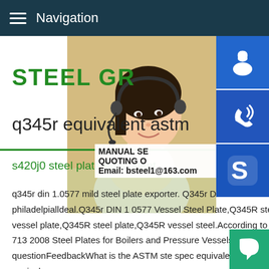Navigation
STEEL GR
q345r equivalent astm
s420j0 steel plate equivalent
[Figure (photo): Woman with headset smiling, customer service representative]
[Figure (infographic): Blue sidebar icons: customer service headset, phone/call, Skype logo; and MANUAL SERVICE, QUOTING O, Email: bsteel1@163.com overlay text]
q345r din 1.0577 mild steel plate exporter. Q345r DIN 1 0577 Vessel Steel Plate philadelpialldeal.Q345r DIN 1 0577 Vessel Steel Plate,Q345R steel is known as Q345R vessel plate,Q345R steel plate,Q345R vessel steel.According to the new classification of GB 713 2008 Steel Plates for Boilers and Pressure Vesselsresults for this questionFeedbackWhat is the ASTM ste spec equivalent to Q345R? steel What is the ASTM equivalen